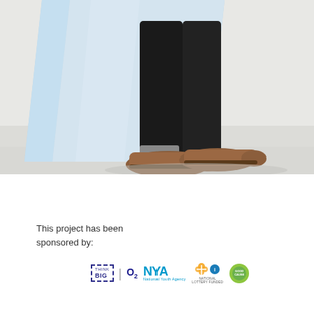[Figure (photo): Person's legs and feet wearing brown suede shoes and dark trousers, carrying a large light-blue rectangular board/panel against a white background.]
This project has been sponsored by:
[Figure (logo): Sponsor logos: Think BIG (O2), O2, NYA National Youth Agency, National Lottery Funded, and a green circular badge.]